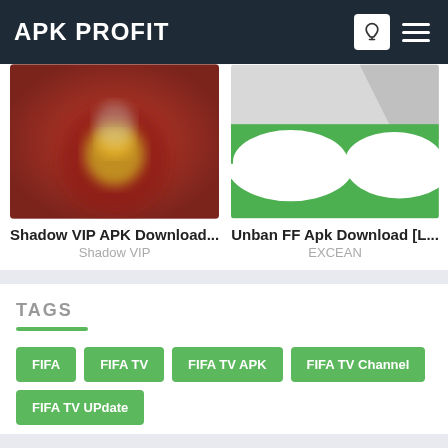APK PROFIT
[Figure (photo): Shadow VIP APK app icon thumbnail - red background with blurred game character imagery]
Shadow VIP APK Download...
Shadow VIP
[Figure (photo): Unban FF Apk icon thumbnail - white and green background with wave/arc shapes]
Unban FF Apk Download [L...
EXCEAN
TAGS
FIFA
FIFA TV
FIFA TV APK
FIFA TV Channel
FIFA TV UPdate